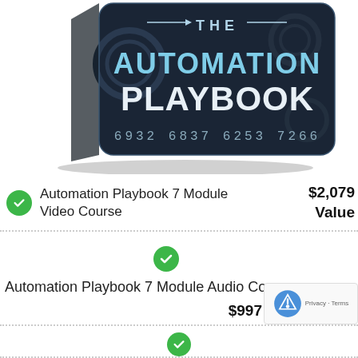[Figure (photo): The Automation Playbook book/card product image with dark background showing gears and text 'THE AUTOMATION PLAYBOOK' with card number 6932 6837 6253 7266]
Automation Playbook 7 Module Video Course  $2,079 Value
Automation Playbook 7 Module Audio Course  $997
(partial row, cut off)